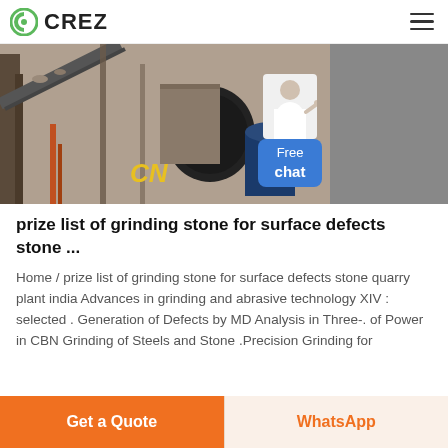CREZ
[Figure (photo): Industrial grinding/crushing plant equipment with conveyor belts, machinery, and a 'CN' logo visible in yellow on the equipment]
prize list of grinding stone for surface defects stone ...
Home / prize list of grinding stone for surface defects stone quarry plant india Advances in grinding and abrasive technology XIV : selected . Generation of Defects by MD Analysis in Three-. of Power in CBN Grinding of Steels and Stone .Precision Grinding for
Get a Quote | WhatsApp